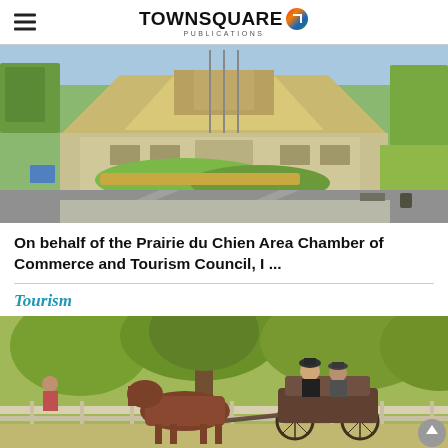TOWNSQUARE PUBLICATIONS
[Figure (photo): Aerial view of a building with a triangular roof surrounded by landscaped gardens and parking area]
On behalf of the Prairie du Chien Area Chamber of Commerce and Tourism Council, I ...
Tourism
[Figure (photo): Two people riding in a horse-drawn carriage in a park setting with large trees in background]